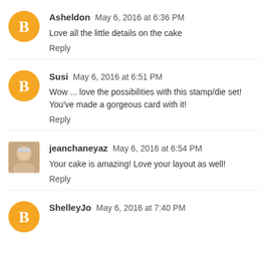Asheldon May 6, 2016 at 6:36 PM
Love all the little details on the cake
Reply
Susi May 6, 2016 at 6:51 PM
Wow ... love the possibilities with this stamp/die set! You've made a gorgeous card with it!
Reply
jeanchaneyaz May 6, 2016 at 6:54 PM
Your cake is amazing! Love your layout as well!
Reply
ShelleyJo May 6, 2016 at 7:40 PM